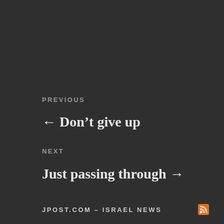PREVIOUS
← Don't give up
NEXT
Just passing through →
JPOST.COM – ISRAEL NEWS